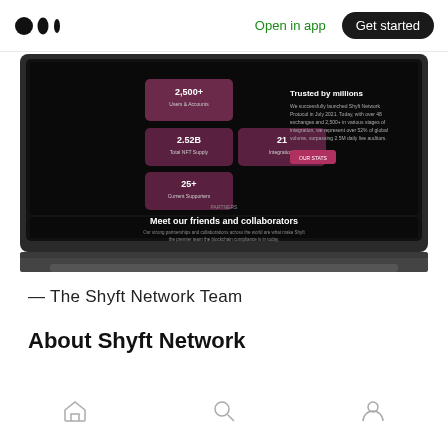Medium logo | Open in app | Get started
[Figure (screenshot): Screenshot of Shyft Network website displayed on a MacBook Pro. The website has a dark/black background. It shows statistics: 2,500+ (Users & Accounts), 2.52B (Total NFT Supply), 21 (Integrations), 25+ (Current Supporters), and 'Trusted by millions' text. Below shows 'Meet our friends and collaborators' section with subtitle text.]
— The Shyft Network Team
About Shyft Network
Home | Search | Profile navigation icons